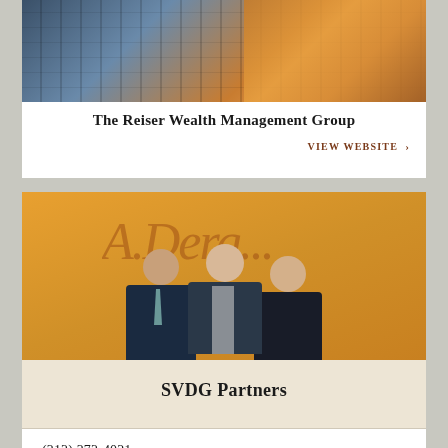[Figure (photo): Photo of a glass office building facade with blue and golden reflections]
The Reiser Wealth Management Group
VIEW WEBSITE >
[Figure (photo): Photo of three professionals (one man in dark suit with teal tie, two women in dark blazers) posing in front of an orange wall with script lettering]
SVDG Partners
(212) 272-4021